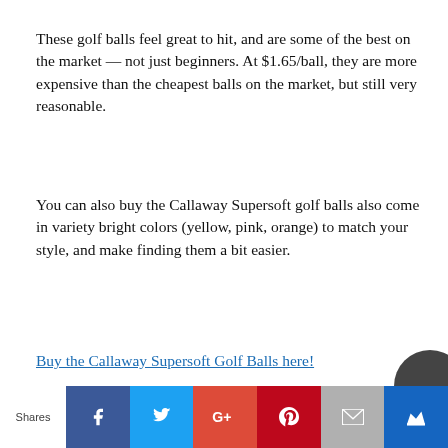These golf balls feel great to hit, and are some of the best on the market — not just beginners.  At $1.65/ball, they are more expensive than the cheapest balls on the market,  but still very reasonable.
You can also buy the Callaway Supersoft golf balls also come in variety bright colors (yellow, pink, orange) to match your style, and make finding them a bit easier.
Buy the Callaway Supersoft Golf Balls here!